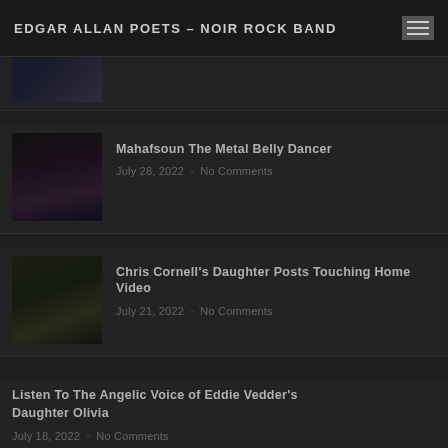EDGAR ALLAN POETS – NOIR ROCK BAND
[Figure (photo): Partial thumbnail of a dark-haired person, cropped at top of page]
Mahafsoun The Metal Belly Dancer
July 28, 2022 · No Comments
[Figure (photo): Thumbnail showing two women, one with a tiara, dark aesthetic]
Chris Cornell's Daughter Posts Touching Home Video
July 21, 2022 · No Comments
[Figure (photo): Thumbnail showing a man with long dark hair and a woman]
Listen To The Angelic Voice of Eddie Vedder's Daughter Olivia
July 18, 2022 · No Comments